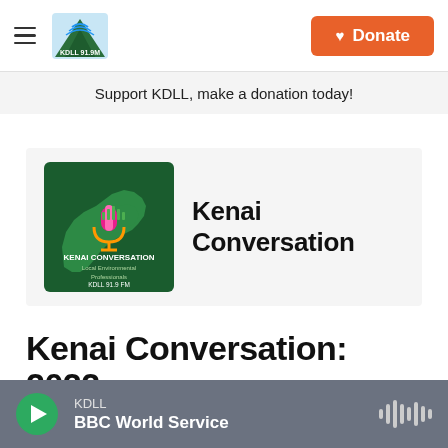KDLL 91.9 FM | Donate
Support KDLL, make a donation today!
[Figure (logo): Kenai Conversation show card with green map of Kenai Peninsula, microphone icon, and text 'Kenai Conversation / KDLL 91.9 FM']
Kenai Conversation
Kenai Conversation: 2022 HEA elections and annual
KDLL / BBC World Service